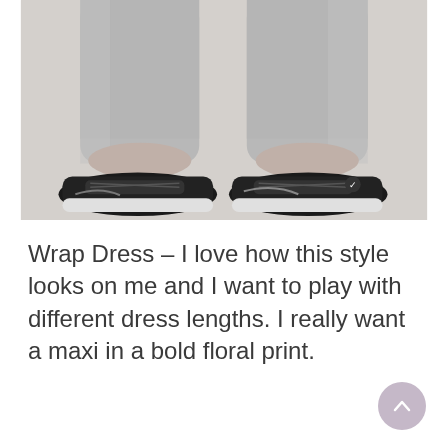[Figure (photo): Cropped lower body photo of a person wearing grey leggings and black Nike sneakers, standing on a light grey background.]
Wrap Dress – I love how this style looks on me and I want to play with different dress lengths. I really want a maxi in a bold floral print.